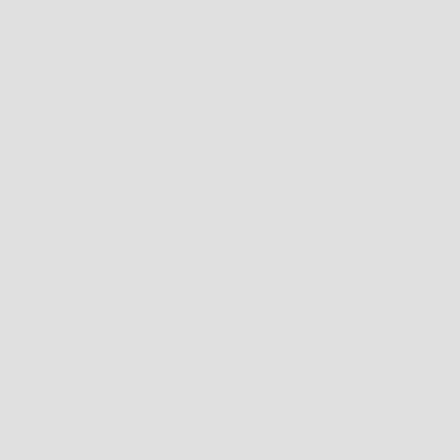6;"|
[[Image:UserscriptList-Bug.svg|20px|link=https://github.com/y-young/userscripts/issues]]
|-
|Copy Tracklist from OTOTOY
|Add a button on OTOTOY album pages